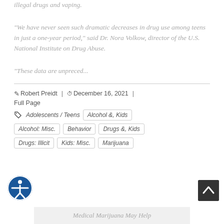illegal drugs and vaping.
"We have never seen such dramatic decreases in drug use among teens in just a one-year period," said Dr. Nora Volkow, director of the U.S. National Institute on Drug Abuse.
"These data are unpreced...
Robert Preidt | December 16, 2021 | Full Page
Adolescents / Teens   Alcohol &, Kids   Alcohol: Misc.   Behavior   Drugs &, Kids   Drugs: Illicit   Kids: Misc.   Marijuana
Medical Marijuana May Help